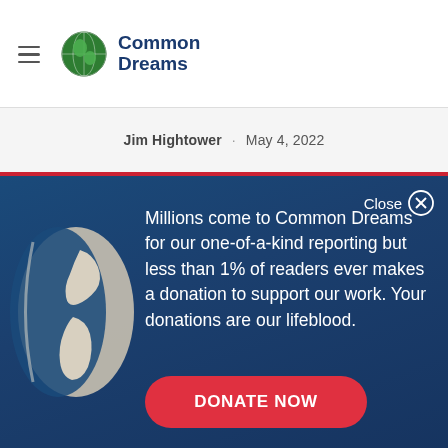Common Dreams
Jim Hightower · May 4, 2022
[Figure (infographic): Common Dreams donation modal overlay on dark blue background with globe illustration. Text: 'Millions come to Common Dreams for our one-of-a-kind reporting but less than 1% of readers ever makes a donation to support our work. Your donations are our lifeblood.' with a red DONATE NOW button.]